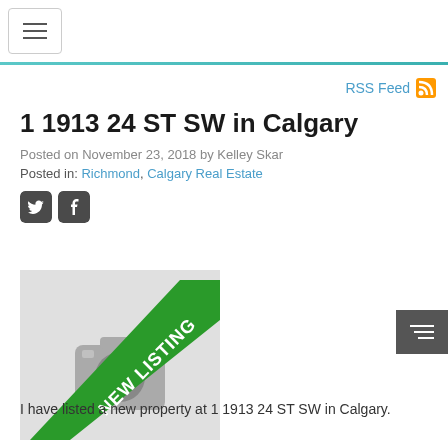≡ (hamburger menu)
RSS Feed
1 1913 24 ST SW in Calgary
Posted on November 23, 2018 by Kelley Skar
Posted in: Richmond, Calgary Real Estate
[Figure (other): Social media icons: Twitter and Facebook]
[Figure (photo): Property image placeholder with 'NEW LISTING' green banner overlay and camera icon]
I have listed a new property at 1 1913 24 ST SW in Calgary.